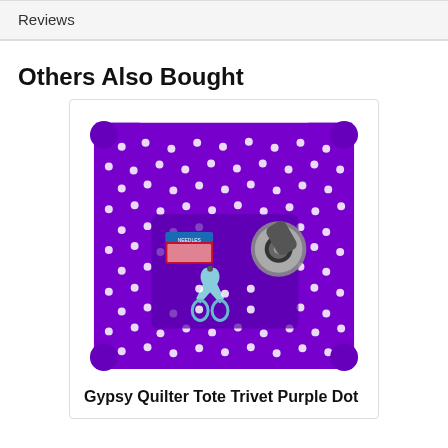Reviews
Others Also Bought
[Figure (photo): Purple polka-dot fabric tote trivet/caddy containing sewing notions: scissors, rotary cutter, and small packages of supplies]
Gypsy Quilter Tote Trivet Purple Dot